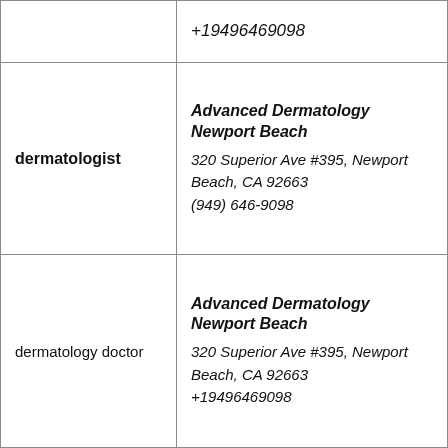|  | +19496469098 |
| dermatologist | Advanced Dermatology Newport Beach
320 Superior Ave #395, Newport Beach, CA 92663
(949) 646-9098 |
| dermatology doctor | Advanced Dermatology Newport Beach
320 Superior Ave #395, Newport Beach, CA 92663
+19496469098 |